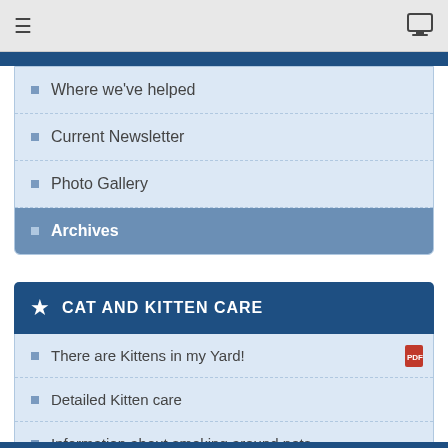≡  [monitor icon]
Where we've helped
Current Newsletter
Photo Gallery
Archives
★ CAT AND KITTEN CARE
There are Kittens in my Yard!
Detailed Kitten care
Information about smoking around pets
Feral Fixers Kitten Handling Videos
Handling older kittens